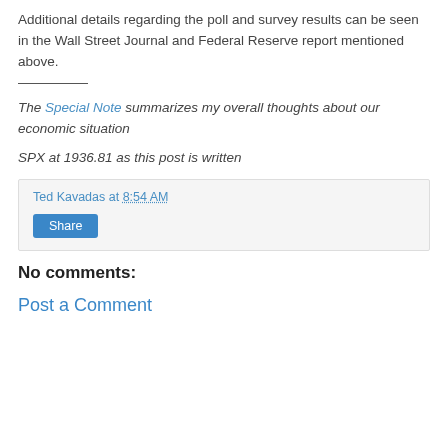Additional details regarding the poll and survey results can be seen in the Wall Street Journal and Federal Reserve report mentioned above.
The Special Note summarizes my overall thoughts about our economic situation
SPX at 1936.81 as this post is written
Ted Kavadas at 8:54 AM
Share
No comments:
Post a Comment